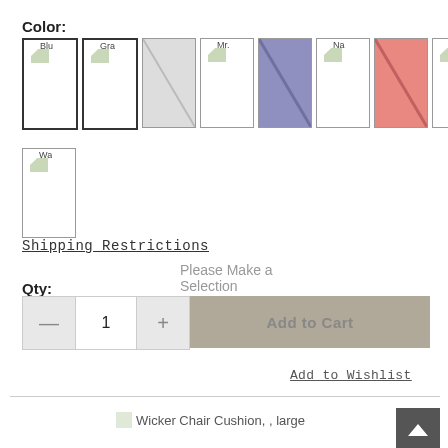Color:
[Figure (other): Color swatch selector showing 9 color options in a grid: Blue (selected, with border), Gray, Scour, Mr., purple-striped, Navy, red/coral-striped, Sea., and Wa. swatches. Each swatch is a square thumbnail with broken image icons.]
Shipping Restrictions
Please Make a Selection
Qty:
Add to Cart
Add to Wishlist
[Figure (photo): Wicker Chair Cushion, , large — broken image placeholder with label text]